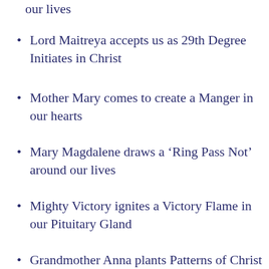our lives
Lord Maitreya accepts us as 29th Degree Initiates in Christ
Mother Mary comes to create a Manger in our hearts
Mary Magdalene draws a ‘Ring Pass Not’ around our lives
Mighty Victory ignites a Victory Flame in our Pituitary Gland
Grandmother Anna plants Patterns of Christ in our Consciousness
Special Ascension in Christ Solfeggio Sound Gift
Beloved Joseph shares the Wisdom of the Father’s Presence
Serapis Bey speaks on the life of an Initiate in